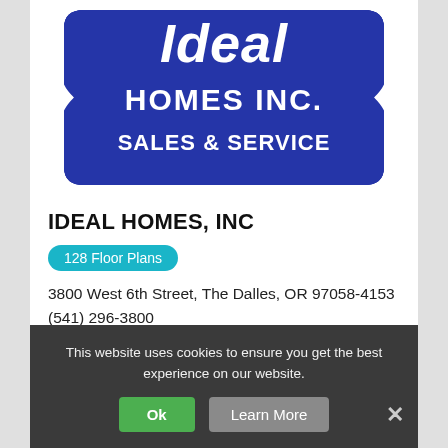[Figure (logo): Ideal Homes Inc. logo — blue ribbon/badge shape with white text reading 'Ideal HOMES INC. SALES & SERVICE']
IDEAL HOMES, INC
128 Floor Plans
3800 West 6th Street, The Dalles, OR 97058-4153
(541) 296-3800
This website uses cookies to ensure you get the best experience on our website.
Ok  Learn More